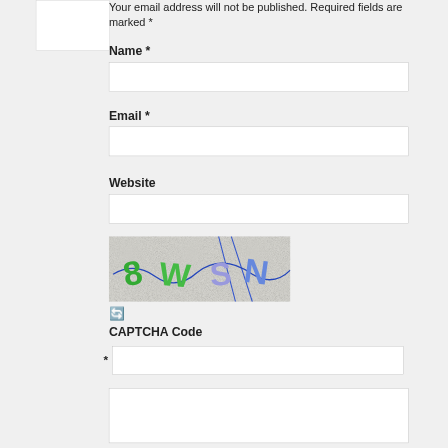[Figure (other): User avatar placeholder box, gray/white rectangle]
Your email address will not be published. Required fields are marked *
Name *
Email *
Website
[Figure (other): CAPTCHA image showing characters '8WSN' with blue lines on a noisy gray background, with a refresh icon below]
CAPTCHA Code
* [CAPTCHA input field]
[Text area / comment box]